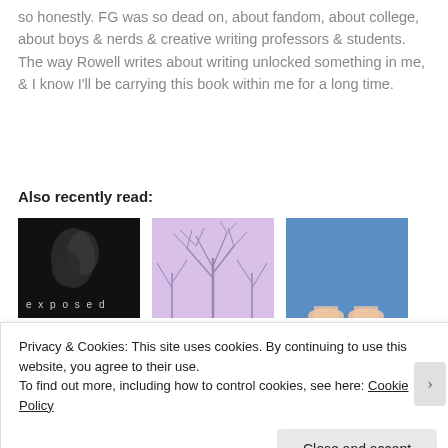so honestly. FG was so dead on, about fandom, about college, about boys & nerds & creative writing professors & students. The way Rowell writes about writing unlocked something in me, & I know I'll be carrying this book within me for a long time.
Also recently read:
[Figure (photo): Three book covers side by side: first is a dark/black cover with text 'exposed', second is a purple/lavender toned cover with bare winter tree branches, third is a blue sky cover with partial face/eyes visible at bottom.]
Privacy & Cookies: This site uses cookies. By continuing to use this website, you agree to their use.
To find out more, including how to control cookies, see here: Cookie Policy
Close and accept